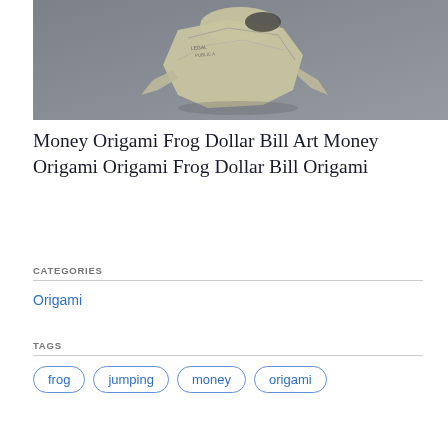[Figure (photo): Photo of a money origami frog made from a US dollar bill, placed on a gray surface. The frog shape is folded from currency showing partial text 'LEGAL' and 'PUBLIC A'.]
Money Origami Frog Dollar Bill Art Money Origami Origami Frog Dollar Bill Origami
CATEGORIES
Origami
TAGS
frog
jumping
money
origami